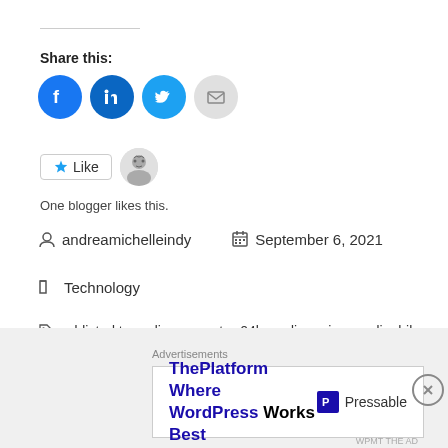Share this:
[Figure (infographic): Share icons: Facebook (blue circle), LinkedIn (blue circle), Twitter (blue circle), Email (grey circle)]
[Figure (infographic): Like button with star icon and an avatar thumbnail. Text below: One blogger likes this.]
andreamichelleindy   September 6, 2021
Technology
addicted to audio, ag, ag tws04k, audio review, audiophile, busisoft av, feature, featured, hifi sound, japanese audio, luxuryaudio, premium audio, tech blogger, tws04k
Advertisements
[Figure (infographic): Pressable advertisement: ThePlatform Where WordPress Works Best with Pressable logo]